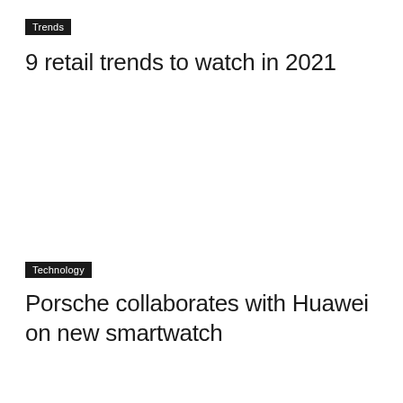Trends
9 retail trends to watch in 2021
Technology
Porsche collaborates with Huawei on new smartwatch